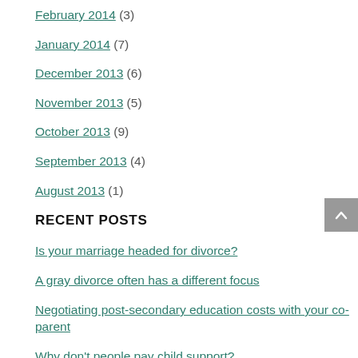February 2014 (3)
January 2014 (7)
December 2013 (6)
November 2013 (5)
October 2013 (9)
September 2013 (4)
August 2013 (1)
RECENT POSTS
Is your marriage headed for divorce?
A gray divorce often has a different focus
Negotiating post-secondary education costs with your co-parent
Why don't people pay child support?
How do you protect to divide their children and div…